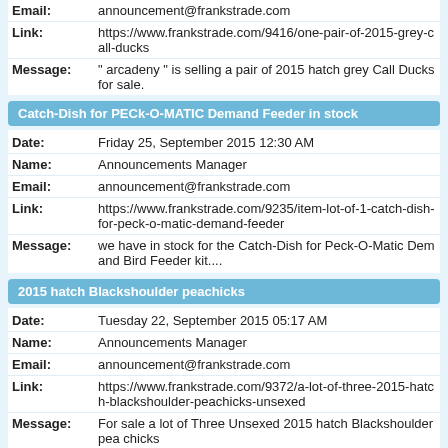| Field | Value |
| --- | --- |
| Email: | announcement@frankstrade.com |
| Link: | https://www.frankstrade.com/9416/one-pair-of-2015-grey-call-ducks |
| Message: | " arcadeny " is selling a pair of 2015 hatch grey Call Ducks for sale. |
Catch-Dish for PECk-O-MATIC Demand Feeder in stock
| Field | Value |
| --- | --- |
| Date: | Friday 25, September 2015 12:30 AM |
| Name: | Announcements Manager |
| Email: | announcement@frankstrade.com |
| Link: | https://www.frankstrade.com/9235/item-lot-of-1-catch-dish-for-peck-o-matic-demand-feeder |
| Message: | we have in stock for the Catch-Dish for Peck-O-Matic Demand Bird Feeder kit.... |
2015 hatch Blackshoulder peachicks
| Field | Value |
| --- | --- |
| Date: | Tuesday 22, September 2015 05:17 AM |
| Name: | Announcements Manager |
| Email: | announcement@frankstrade.com |
| Link: | https://www.frankstrade.com/9372/a-lot-of-three-2015-hatch-blackshoulder-peachicks-unsexed |
| Message: | For sale a lot of Three Unsexed 2015 hatch Blackshoulder pea chicks |
Lot of 8 PECk-O-MATIC
| Field | Value |
| --- | --- |
| Date: | Friday 18, September 2015 07:46 AM |